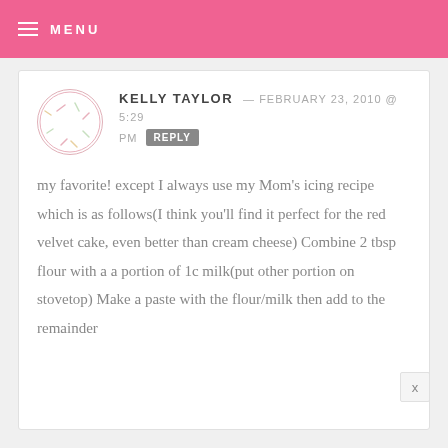MENU
KELLY TAYLOR — FEBRUARY 23, 2010 @ 5:29 PM  REPLY
my favorite! except I always use my Mom's icing recipe which is as follows(I think you'll find it perfect for the red velvet cake, even better than cream cheese) Combine 2 tbsp flour with a a portion of 1c milk(put other portion on stovetop) Make a paste with the flour/milk then add to the remainder